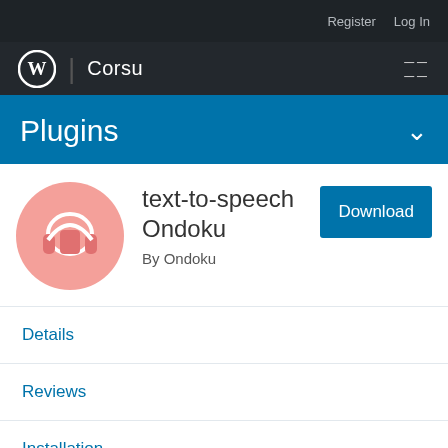Register  Log In
Corsu
Plugins
text-to-speech Ondoku
By Ondoku
Details
Reviews
Installation